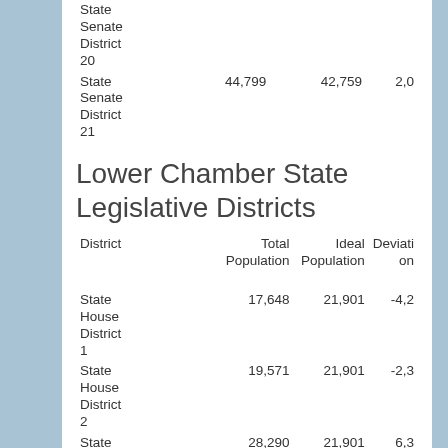| District | Total Population | Ideal Population | Deviation |
| --- | --- | --- | --- |
| State Senate District 20 |  |  |  |
| State Senate District 21 | 44,799 | 42,759 | 2,0 |
Lower Chamber State Legislative Districts
| District | Total Population | Ideal Population | Deviation |
| --- | --- | --- | --- |
| State House District 1 | 17,648 | 21,901 | -4,2 |
| State House District 2 | 19,571 | 21,901 | -2,3 |
| State House District 3 | 28,290 | 21,901 | 6,3 |